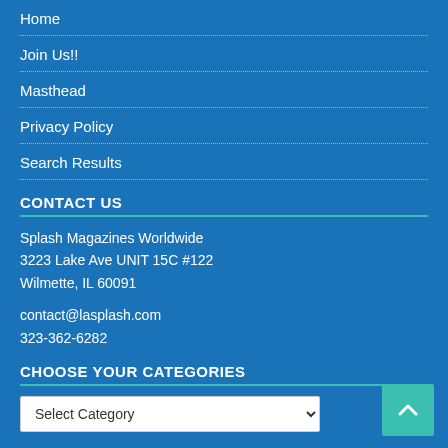Home
Join Us!!
Masthead
Privacy Policy
Search Results
CONTACT US
Splash Magazines Worldwide
3223 Lake Ave UNIT 15C #122
Wilmette, IL 60091
contact@lasplash.com
323-362-6282
CHOOSE YOUR CATEGORIES
Select Category